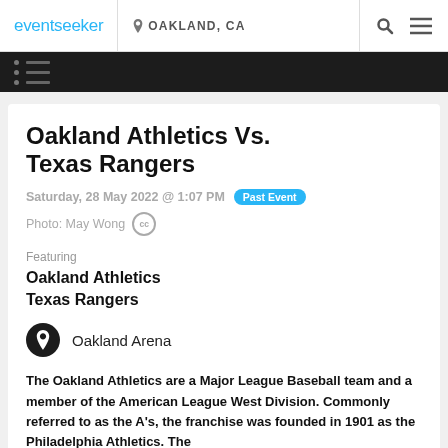eventseeker  OAKLAND, CA
Oakland Athletics Vs. Texas Rangers
Saturday, 28 May 2022 @ 1:07 PM  Past Event
Photo: May Wong (CC)
Featuring
Oakland Athletics
Texas Rangers
Oakland Arena
The Oakland Athletics are a Major League Baseball team and a member of the American League West Division. Commonly referred to as the A's, the franchise was founded in 1901 as the Philadelphia Athletics. The